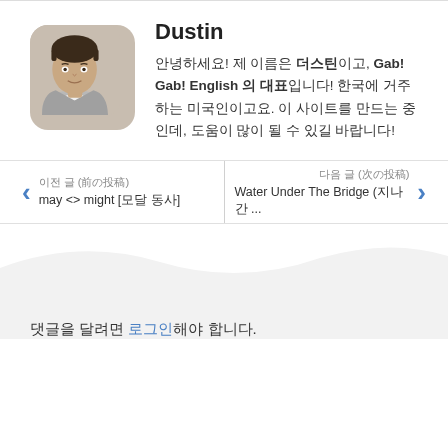[Figure (photo): Profile photo of Dustin, a man in a light gray blazer with short dark hair, displayed with rounded corners]
Dustin
안녕하세요! 제 이름은 더스틴이고, Gab! Gab! English 의 대표입니다! 한국에 거주하는 미국인이고요. 이 사이트를 만드는 중인데, 도움이 많이 될 수 있길 바랍니다!
이전 글 (前の投稿)
may <> might [모달 동사]
다음 글 (次の投稿)
Water Under The Bridge (지나간 ...
댓글을 달려면 로그인해야 합니다.